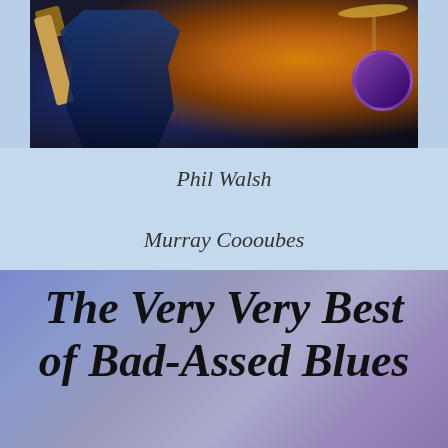[Figure (photo): Concert photo showing a guitarist on the left wearing a blue shirt, with a drum kit and warm orange stage lighting on the right. Dark background with dramatic stage lighting.]
Phil Walsh
Murray Coooubes
The Very Very Best of Bad-Assed Blues